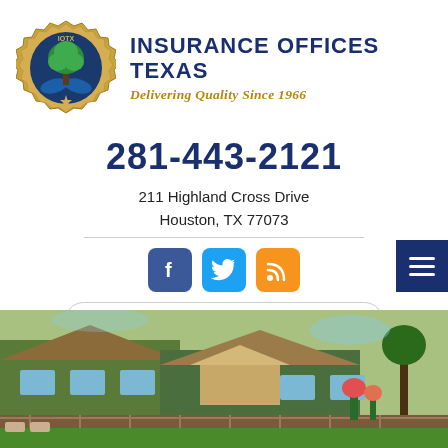[Figure (logo): Insurance Offices Texas circular badge logo with gold border, tree, and hands]
INSURANCE OFFICES TEXAS
Delivering Quality Since 1966
281-443-2121
211 Highland Cross Drive
Houston, TX 77073
[Figure (other): Social media icons: Facebook (blue), Twitter (light blue), RSS (orange)]
Live Chat  –  offline
[Figure (photo): Exterior photo of a house/building with wrap-around deck and landscaping]